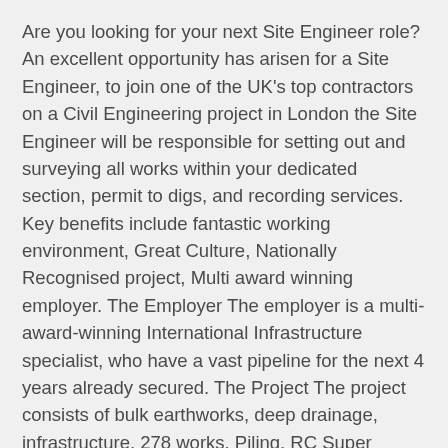Are you looking for your next Site Engineer role? An excellent opportunity has arisen for a Site Engineer, to join one of the UK's top contractors on a Civil Engineering project in London the Site Engineer will be responsible for setting out and surveying all works within your dedicated section, permit to digs, and recording services. Key benefits include fantastic working environment, Great Culture, Nationally Recognised project, Multi award winning employer. The Employer The employer is a multi-award-winning International Infrastructure specialist, who have a vast pipeline for the next 4 years already secured. The Project The project consists of bulk earthworks, deep drainage, infrastructure, 278 works, Piling, RC Super structure, Bridges, Public realm, Street Lighting, Kerbing and foundations. Duties & Responsibilities The Site Engineer will report to a Senior Engineer. Duties will include; Setting out Producing accurate topographical and as-built surveys. Quality assurance...